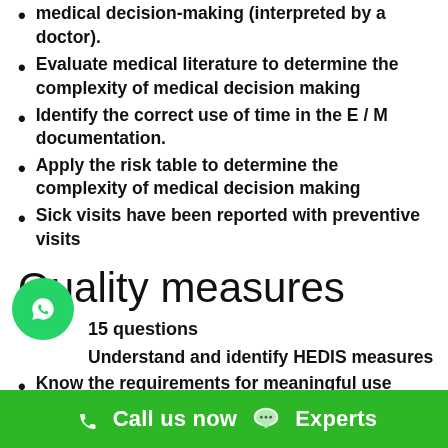medical decision-making (interpreted by a doctor).
Evaluate medical literature to determine the complexity of medical decision making
Identify the correct use of time in the E / M documentation.
Apply the risk table to determine the complexity of medical decision making
Sick visits have been reported with preventive visits
Quality measures
15 questions
Understand and identify HEDIS measures
Know the requirements for meaningful use
Identify the PCRS...
Call us now  Experts